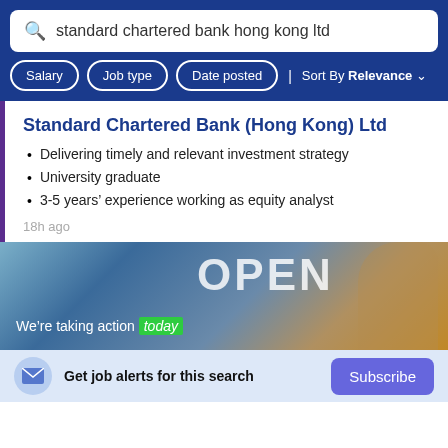standard chartered bank hong kong ltd
Salary | Job type | Date posted | Sort By Relevance
Standard Chartered Bank (Hong Kong) Ltd
Delivering timely and relevant investment strategy
University graduate
3-5 years' experience working as equity analyst
18h ago
[Figure (photo): Advertisement banner showing 'OPEN' sign text overlay with a woman looking up, and tagline 'We're taking action today']
Get job alerts for this search